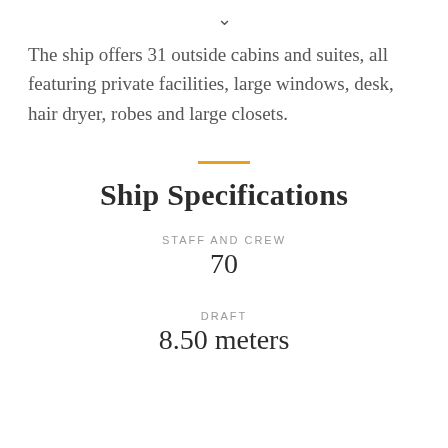The ship offers 31 outside cabins and suites, all featuring private facilities, large windows, desk, hair dryer, robes and large closets.
Ship Specifications
STAFF AND CREW
70
DRAFT
8.50 meters